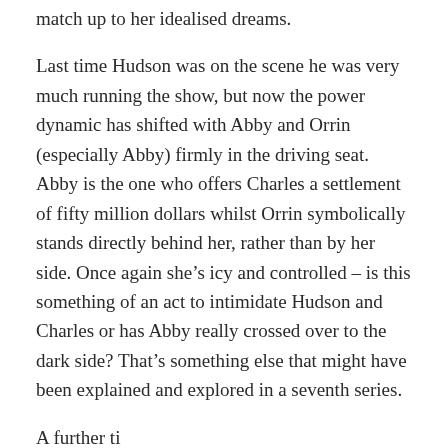match up to her idealised dreams.
Last time Hudson was on the scene he was very much running the show, but now the power dynamic has shifted with Abby and Orrin (especially Abby) firmly in the driving seat. Abby is the one who offers Charles a settlement of fifty million dollars whilst Orrin symbolically stands directly behind her, rather than by her side. Once again she’s icy and controlled – is this something of an act to intimidate Hudson and Charles or has Abby really crossed over to the dark side? That’s something else that might have been explained and explored in a seventh series.
A further time of interest...